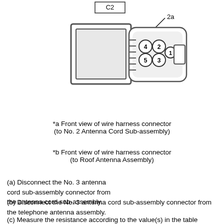[Figure (schematic): Front view diagram of a wire harness connector showing a rectangular connector body with 5 numbered circular pins arranged in a 2x2+1 pattern (pins 1-5), labeled with '2a' pointing to pin area. A label 'C2' appears at top.]
*a Front view of wire harness connector
(to No. 2 Antenna Cord Sub-assembly)
*b Front view of wire harness connector
(to Roof Antenna Assembly)
(a) Disconnect the No. 3 antenna cord sub-assembly connector from the antenna cord sub-assembly.
(b) Disconnect the No. 3 antenna cord sub-assembly connector from the telephone antenna assembly.
(c) Measure the resistance according to the value(s) in the table below.